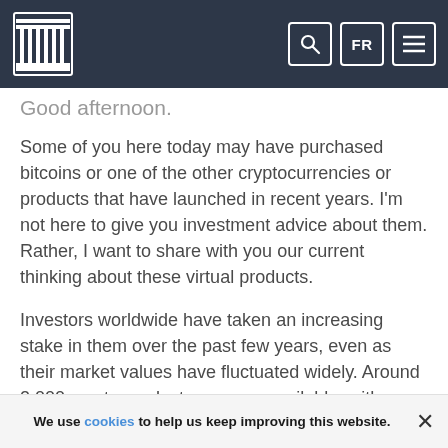Navigation bar with institution logo, search icon, FR language toggle, and menu icon
Good afternoon.
Some of you here today may have purchased bitcoins or one of the other cryptocurrencies or products that have launched in recent years. I'm not here to give you investment advice about them. Rather, I want to share with you our current thinking about these virtual products.
Investors worldwide have taken an increasing stake in them over the past few years, even as their market values have fluctuated widely. Around 2,000 crypto products are now available, with dozens more launching every month.1 Trading volumes have grown almost 100-fold in just the past two years. Media interest in them has inflated at a similar pace, often
We use cookies to help us keep improving this website.